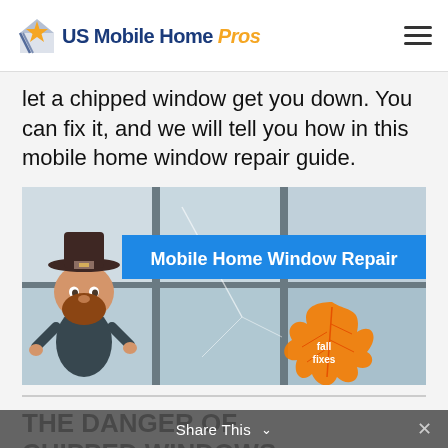US Mobile Home Pros
let a chipped window get you down. You can fix it, and we will tell you how in this mobile home window repair guide.
[Figure (illustration): Promotional image for Mobile Home Window Repair with a cartoon mascot character wearing a pilgrim hat and fall leaves graphic with text 'fall fixes']
THE DANGER OF CHIPPED WINDOWS
Share This